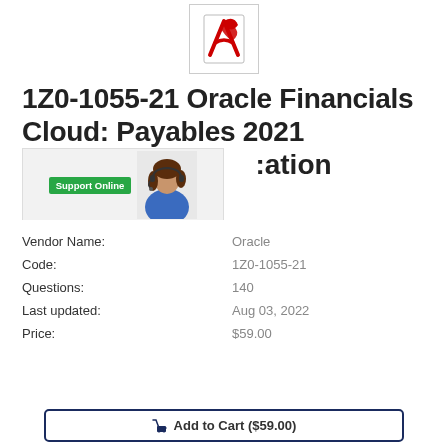[Figure (logo): Adobe PDF logo icon in a bordered box]
1Z0-1055-21 Oracle Financials Cloud: Payables 2021 Implementation Essentials
[Figure (photo): Support Online badge with woman wearing headset, overlaying part of the title text]
Vendor Name: Oracle
Code: 1Z0-1055-21
Questions: 140
Last updated: Aug 03, 2022
Price: $59.00
Add to Cart ($59.00)